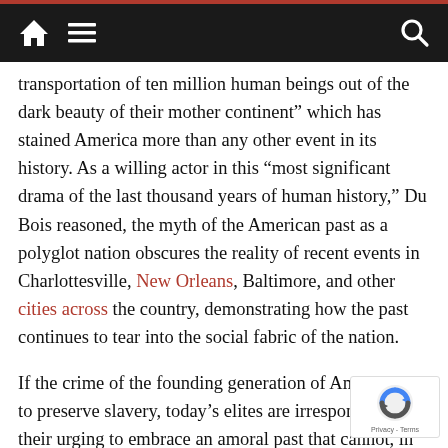Navigation bar with home, menu, and search icons
transportation of ten million human beings out of the dark beauty of their mother continent” which has stained America more than any other event in its history. As a willing actor in this “most significant drama of the last thousand years of human history,” Du Bois reasoned, the myth of the American past as a polyglot nation obscures the reality of recent events in Charlottesville, New Orleans, Baltimore, and other cities across the country, demonstrating how the past continues to tear into the social fabric of the nation.
If the crime of the founding generation of America was to preserve slavery, today’s elites are irresponsible in their urging to embrace an amoral past that cannot, in fairness, save the nation from descending into the of herrenvolk democracy. Barely two decades into twenty-first century, men like Bush continue to feign